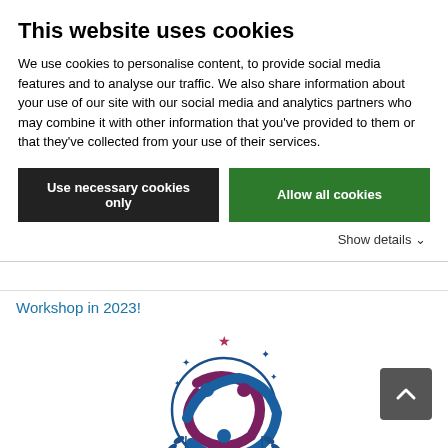This website uses cookies
We use cookies to personalise content, to provide social media features and to analyse our traffic. We also share information about your use of our site with our social media and analytics partners who may combine it with other information that you've provided to them or that they've collected from your use of their services.
Use necessary cookies only | Allow all cookies
Show details
Workshop in 2023!
[Figure (logo): Circular logo with stylized human figures and stars, in blue and purple/maroon tones, with laurel branches at the bottom. Likely related to a Space Generation Advisory Council event.]
Call for Hosting City – SA-SGW 2023
Announcement of the Australian Space Agency Scholarship